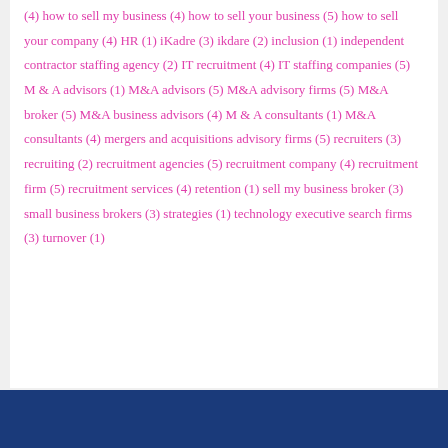(4) how to sell my business (4) how to sell your business (5) how to sell your company (4) HR (1) iKadre (3) ikdare (2) inclusion (1) independent contractor staffing agency (2) IT recruitment (4) IT staffing companies (5) M & A advisors (1) M&A advisors (5) M&A advisory firms (5) M&A broker (5) M&A business advisors (4) M & A consultants (1) M&A consultants (4) mergers and acquisitions advisory firms (5) recruiters (3) recruiting (2) recruitment agencies (5) recruitment company (4) recruitment firm (5) recruitment services (4) retention (1) sell my business broker (3) small business brokers (3) strategies (1) technology executive search firms (3) turnover (1)